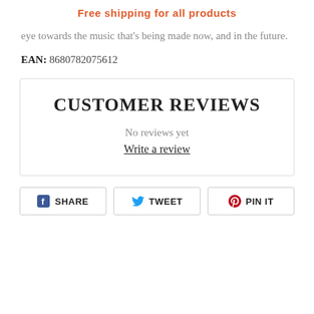Free shipping for all products
eye towards the music that's being made now, and in the future.
EAN: 8680782075612
CUSTOMER REVIEWS
No reviews yet
Write a review